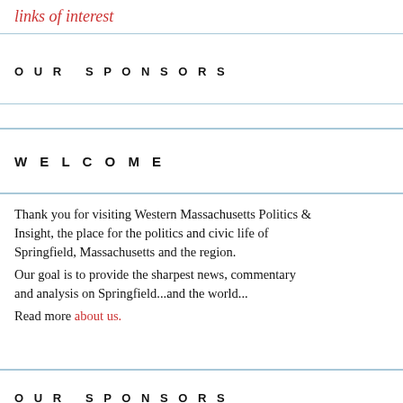links of interest
OUR SPONSORS
WELCOME
Thank you for visiting Western Massachusetts Politics & Insight, the place for the politics and civic life of Springfield, Massachusetts and the region.
Our goal is to provide the sharpest news, commentary and analysis on Springfield...and the world...
Read more about us.
OUR SPONSORS